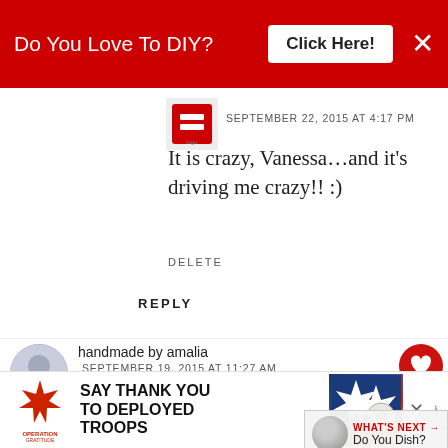[Figure (screenshot): Red banner ad: 'Do You Love To DIY? Click Here!' with X close button]
[Figure (photo): Small blog/website avatar thumbnail in top-left of comment area]
SEPTEMBER 22, 2015 AT 4:17 PM
It is crazy, Vanessa…and it's driving me crazy!! :)
DELETE
REPLY
[Figure (photo): Circular avatar for 'handmade by amalia' commenter]
handmade by amalia
SEPTEMBER 19, 2015 AT 11:27 AM
LOL. I actually like myste... but I've yet to solve the cas... missing teaspoons. However many I
[Figure (screenshot): WHAT'S NEXT arrow: Do You Dish? overlay with circle graphic]
[Figure (screenshot): Bottom banner ad: Operation Gratitude - SAY THANK YOU TO DEPLOYED TROOPS with patriotic imagery]